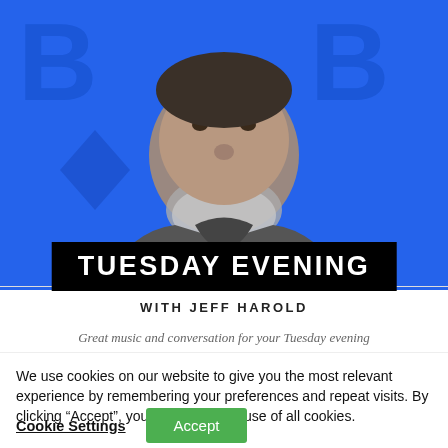[Figure (photo): A bearded man with gray beard wearing a gray zip-up fleece, photographed against a bright blue background with large blue letter B logos on either side. The photo is cropped from shoulders up.]
TUESDAY EVENING
WITH JEFF HAROLD
Great music and conversation for your Tuesday evening
We use cookies on our website to give you the most relevant experience by remembering your preferences and repeat visits. By clicking “Accept”, you consent to the use of all cookies.
Cookie Settings
Accept